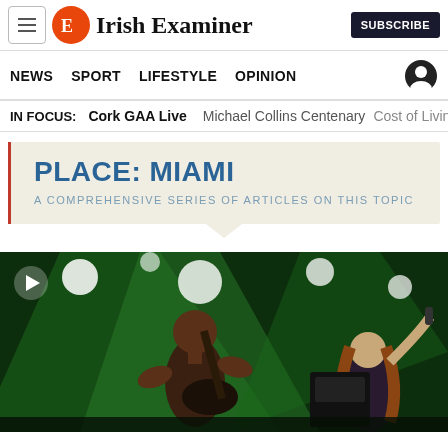Irish Examiner - SUBSCRIBE
NEWS SPORT LIFESTYLE OPINION
IN FOCUS: Cork GAA Live Michael Collins Centenary Cost of Living
PLACE: MIAMI
A COMPREHENSIVE SERIES OF ARTICLES ON THIS TOPIC
[Figure (photo): Rock concert photo showing guitarist and vocalist on stage with green lighting]